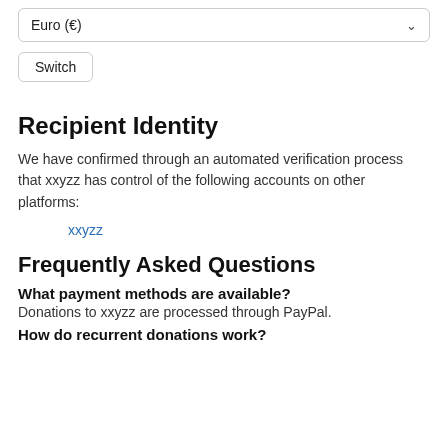Euro (€)
Switch
Recipient Identity
We have confirmed through an automated verification process that xxyzz has control of the following accounts on other platforms:
xxyzz
Frequently Asked Questions
What payment methods are available?
Donations to xxyzz are processed through PayPal.
How do recurrent donations work?